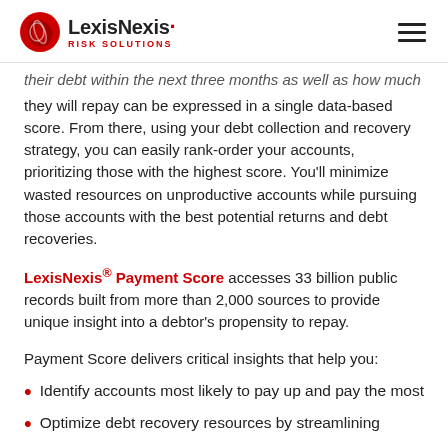LexisNexis Risk Solutions
their debt within the next three months as well as how much they will repay can be expressed in a single data-based score. From there, using your debt collection and recovery strategy, you can easily rank-order your accounts, prioritizing those with the highest score. You’ll minimize wasted resources on unproductive accounts while pursuing those accounts with the best potential returns and debt recoveries.
LexisNexis® Payment Score accesses 33 billion public records built from more than 2,000 sources to provide unique insight into a debtor’s propensity to repay.
Payment Score delivers critical insights that help you:
Identify accounts most likely to pay up and pay the most
Optimize debt recovery resources by streamlining